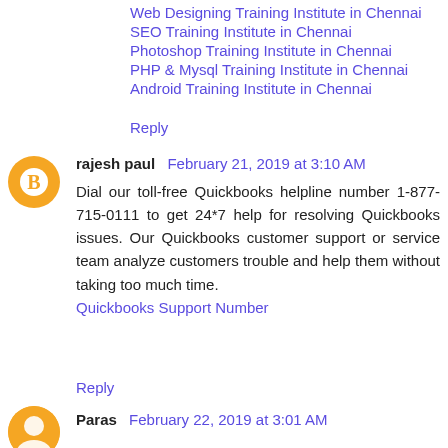Web Designing Training Institute in Chennai
SEO Training Institute in Chennai
Photoshop Training Institute in Chennai
PHP & Mysql Training Institute in Chennai
Android Training Institute in Chennai
Reply
rajesh paul  February 21, 2019 at 3:10 AM
Dial our toll-free Quickbooks helpline number 1-877-715-0111 to get 24*7 help for resolving Quickbooks issues. Our Quickbooks customer support or service team analyze customers trouble and help them without taking too much time.
Quickbooks Support Number
Reply
Paras  February 22, 2019 at 3:01 AM